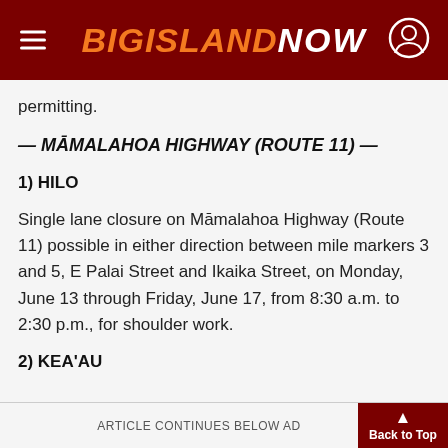BIG ISLAND NOW
permitting.
— MĀMALAHOA HIGHWAY (ROUTE 11) —
1) HILO
Single lane closure on Māmalahoa Highway (Route 11) possible in either direction between mile markers 3 and 5, E Palai Street and Ikaika Street, on Monday, June 13 through Friday, June 17, from 8:30 a.m. to 2:30 p.m., for shoulder work.
2) KEA'AU
ARTICLE CONTINUES BELOW AD